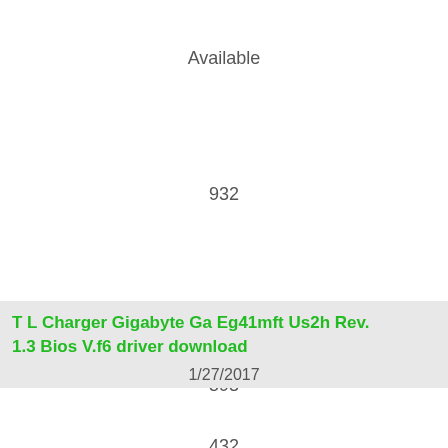Available
932
8
593
432
T L Charger Gigabyte Ga Eg41mft Us2h Rev. 1.3 Bios V.f6 driver download
1/27/2017